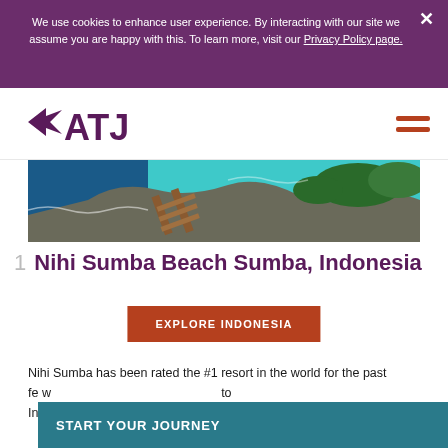We use cookies to enhance user experience. By interacting with our site we assume you are happy with this. To learn more, visit our Privacy Policy page.
[Figure (logo): ATJ logo with purple geometric bird/arrow shape and ATJ text in purple]
[Figure (photo): Aerial view of Nihi Sumba Beach showing turquoise water, rocky coastline, and tropical vegetation]
1  Nihi Sumba Beach Sumba, Indonesia
EXPLORE INDONESIA
Nihi Sumba has been rated the #1 resort in the world for the past fe... to Indonesia
START YOUR JOURNEY